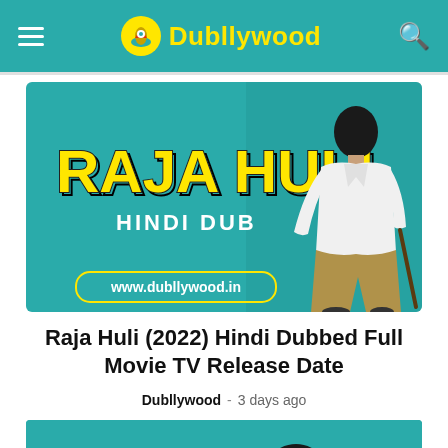Dubllywood
[Figure (photo): Raja Huli Hindi Dub movie poster on teal background with large yellow text 'RAJA HULI', subtitle 'HINDI DUB', website www.dubllywood.in, and a male figure standing on the right side]
Raja Huli (2022) Hindi Dubbed Full Movie TV Release Date
Dubllywood - 3 days ago
[Figure (photo): Partial view of a second movie-related image with teal background showing top of a person's head]